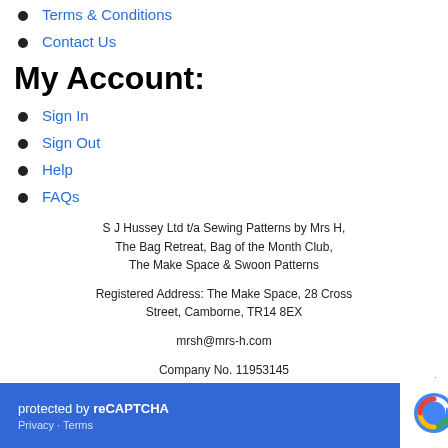Terms & Conditions
Contact Us
My Account:
Sign In
Sign Out
Help
FAQs
S J Hussey Ltd t/a Sewing Patterns by Mrs H, The Bag Retreat, Bag of the Month Club, The Make Space & Swoon Patterns
Registered Address: The Make Space, 28 Cross Street, Camborne, TR14 8EX
mrsh@mrs-h.com
Company No. 11953145
VAT No. 323422147
protected by reCAPTCHA
Privacy · Terms